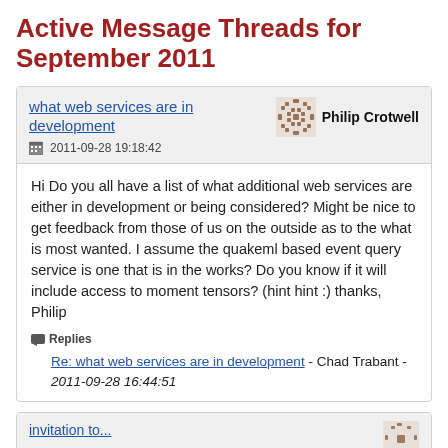Active Message Threads for September 2011
what web services are in development
2011-09-28 19:18:42
Philip Crotwell
Hi Do you all have a list of what additional web services are either in development or being considered? Might be nice to get feedback from those of us on the outside as to the what is most wanted. I assume the quakeml based event query service is one that is in the works? Do you know if it will include access to moment tensors? (hint hint :) thanks, Philip
Replies
Re: what web services are in development - Chad Trabant - 2011-09-28 16:44:51